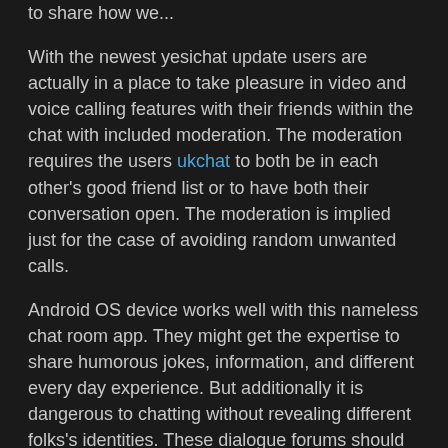to share how we...
With the newest yesichat update users are actually in a place to take pleasure in video and voice calling features with their friends within the chat with included moderation. The moderation requires the users ukchat to both be in each other's good friend list or to have both their conversation open. The moderation is implied just for the case of avoiding random unwanted calls.
Android OS device works well with this nameless chat room app. They might get the expertise to share humorous jokes, information, and different every day experience. But additionally it is dangerous to chatting without revealing different folks's identities. These dialogue forums should not be confused with senior dating websites.
People also like to get onto these websites when they're going through a match of boredom. There's nothing extra entertaining than meeting someone completely new on the Internet for some naughtiness. People additionally use these web sites to hyperlink with people they plan on meeting in the real world.
We do not want to give away our e-mail id with out figuring out how a web-based chat site is. Yesichat values this sense of chat room how...